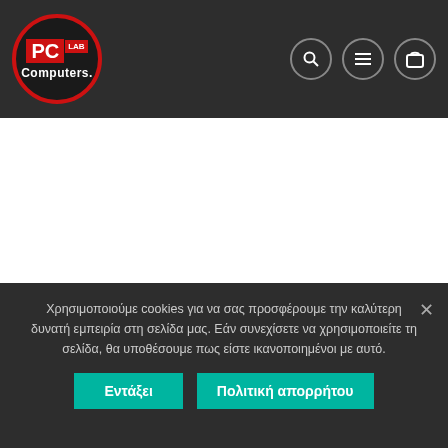PC LAB Computers [logo with search, menu, cart icons]
Certification: CE, FCC, IC
Concurrent Clients: 200+
Dimensions: 196.7 x 35 mm
Environment: Indoor/Outdoor
Guest Traffic Isolation: Supported
Max Power consumption: 9W
Mounting: Wall/Ceiling (Kits Included)
Operating Humidity: 5 to 95% Noncondensing
Operating Temperature: 10 to 70° C (14 to 158° F)
Χρησιμοποιούμε cookies για να σας προσφέρουμε την καλύτερη δυνατή εμπειρία στη σελίδα μας. Εάν συνεχίσετε να χρησιμοποιείτε τη σελίδα, θα υποθέσουμε πως είστε ικανοποιημένοι με αυτό.
Εντάξει | Πολιτική απορρήτου